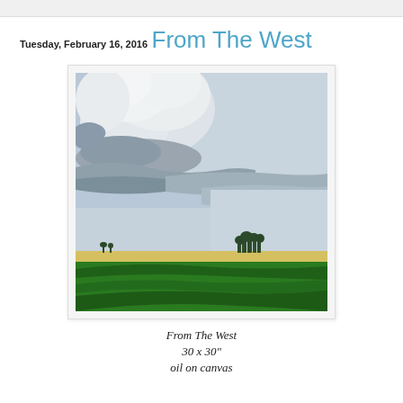Tuesday, February 16, 2016
From The West
[Figure (illustration): Oil painting of a dramatic prairie landscape. A large billowing cumulus cloud formation dominates the upper left, with dark grey underbellies and white tops. Flat prairie land with bright green fields in the foreground and a thin line of trees and yellow fields near the horizon occupies the lower portion. The sky is light blue-grey.]
From The West
30 x 30"
oil on canvas